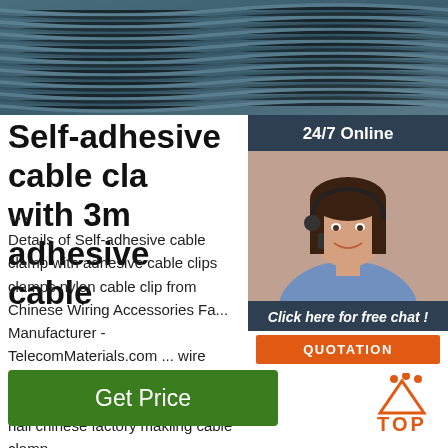[Figure (photo): Close-up of dark teal/blue wires or cables bundled together]
Self-adhesive cable cla... with 3m adhesive cable...
...
Details of Self-adhesive cable clamp with adhesive cable clips clamps nylon cable clip from Chinese Wiring Accessories Factory Manufacturer - TelecomMaterials.com ... wire Type: Flat clip Packing & Delivery ... round circle Cable Clips with nail chinese factory makiing cable clamp.
[Figure (photo): 24/7 Online chat widget with photo of female customer service representative wearing headset. Includes 'Click here for free chat!' text and orange QUOTATION button.]
Get Price
[Figure (other): TOP arrow icon in orange with dots above it and TOP text below]